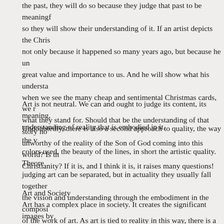the past, they will do so because they judge that past to be meaningful so they will show their understanding of it. If an artist depicts the Chris not only because it happened so many years ago, but because he un great value and importance to us. And he will show what his understa when we see the many cheap and sentimental Christmas cards, we r what they stand for. Should that be the understanding of that story no unworthy of the reality of the Son of God coming into this world? Is th Christianity? If it is, and I think it is, it raises many questions!
Art is not neutral. We can and ought to judge its content, its meaning, understanding of reality that is embodied in it.
Undoubtedly, there is also a second approach to quality, the way the v colors used, the beauty of the lines, in short the artistic quality. Theore judging art can be separated, but in actuality they usually fall together the vision and understanding through the embodiment in the composi of the work of art. As art is tied to reality in this way, there is a place t Does it do justice to what it represents? Does it do this in a positive w depth and complexity of what it is talking about? Art may be simple; it should never be silly or shallow.
Art and Society
Art has a complex place in society. It creates the significant images by are important and common in a society are expressed. By the artistic